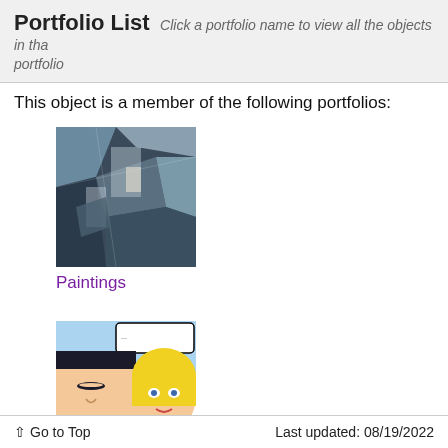Portfolio List Click a portfolio name to view all the objects in that portfolio
This object is a member of the following portfolios:
[Figure (photo): Thumbnail image of a cubist-style painting with blue and grey tones]
Paintings
[Figure (photo): Thumbnail image of a Pop Art style comic panel showing a man and a woman with blonde hair]
Selections from the Catalogue: Pop and
↑ Go to Top   Last updated: 08/19/2022